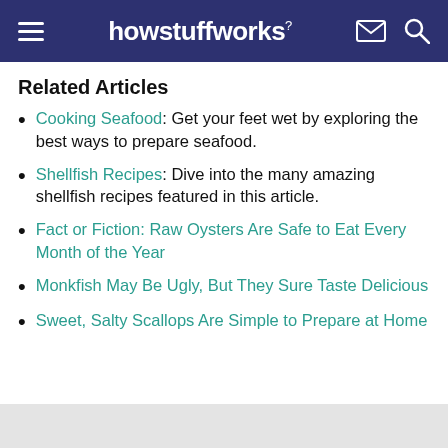howstuffworks
Related Articles
Cooking Seafood: Get your feet wet by exploring the best ways to prepare seafood.
Shellfish Recipes: Dive into the many amazing shellfish recipes featured in this article.
Fact or Fiction: Raw Oysters Are Safe to Eat Every Month of the Year
Monkfish May Be Ugly, But They Sure Taste Delicious
Sweet, Salty Scallops Are Simple to Prepare at Home